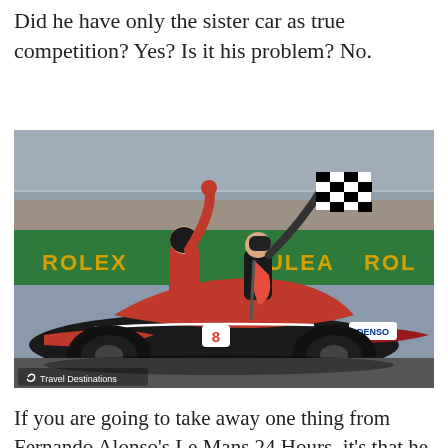Did he have only the sister car as true competition? Yes? Is it his problem? No.
[Figure (photo): Racing car (Toyota number 8) with two drivers celebrating victory on top, waving flags including a checkered flag, with Rolex branding on pit lane barriers in the background. Watermark: Travel Destinations.]
If you are going to take away one thing from Fernando Alonso's Le Mans 24 Hours, it's that he was pushing. Despite the race not being the